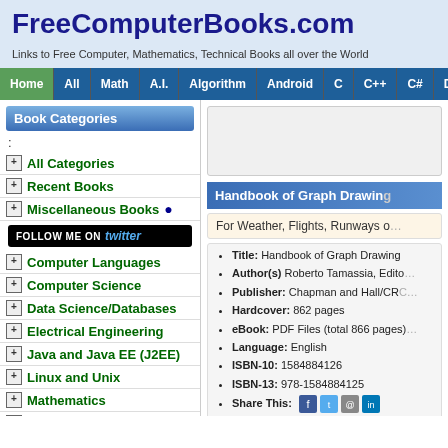FreeComputerBooks.com
Links to Free Computer, Mathematics, Technical Books all over the World
Home | All | Math | A.I. | Algorithm | Android | C | C++ | C# | Data | DL
Book Categories
:
All Categories
Recent Books
Miscellaneous Books
[Figure (screenshot): Follow me on Twitter button]
Computer Languages
Computer Science
Data Science/Databases
Electrical Engineering
Java and Java EE (J2EE)
Linux and Unix
Mathematics
Microsoft and .NET
Mobile Computing COOL
Networking and
Handbook of Graph Drawing
For Weather, Flights, Runways o...
| Field | Value |
| --- | --- |
| Title: | Handbook of Graph Drawing |
| Author(s) | Roberto Tamassia, Edito... |
| Publisher: | Chapman and Hall/CRC... |
| Hardcover: | 862 pages |
| eBook: | PDF Files (total 866 pages) |
| Language: | English |
| ISBN-10: | 1584884126 |
| ISBN-13: | 978-1584884125 |
| Share This: | social icons |